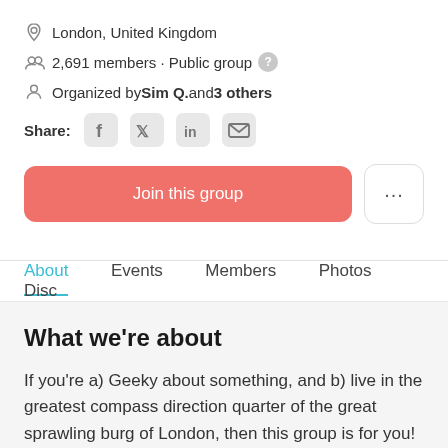London, United Kingdom
2,691 members · Public group
Organized by Sim Q. and 3 others
Share:
Join this group
About   Events   Members   Photos   Disc
What we're about
If you're a) Geeky about something, and b) live in the greatest compass direction quarter of the great sprawling burg of London, then this group is for you!
It's a relaxed, friendly group that likes to discuss